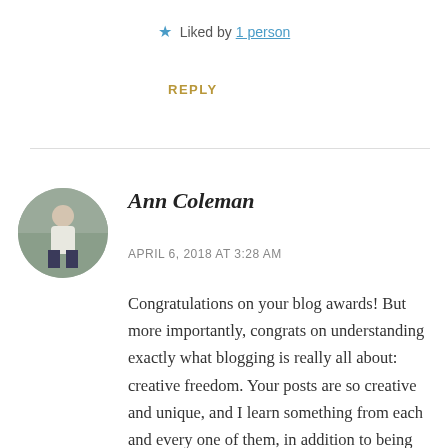★ Liked by 1 person
REPLY
[Figure (photo): Circular avatar photo of Ann Coleman, a person in a white shirt standing outdoors]
Ann Coleman
APRIL 6, 2018 AT 3:28 AM
Congratulations on your blog awards! But more importantly, congrats on understanding exactly what blogging is really all about: creative freedom. Your posts are so creative and unique, and I learn something from each and every one of them, in addition to being entertained. Like most people, I started my blog because I wanted that creative freedom, but also like most